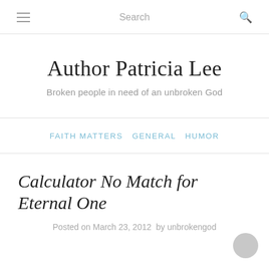Search
Author Patricia Lee
Broken people in need of an unbroken God
FAITH MATTERS GENERAL HUMOR
Calculator No Match for Eternal One
Posted on March 23, 2012  by unbrokengod